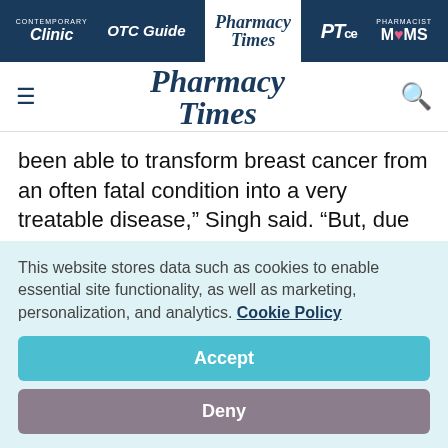CONTEMPORARY Clinic | OTC Guide | Pharmacy Times | PTce | PHARMACIST MOMS
[Figure (logo): Pharmacy Times logo with hamburger menu and search icon]
been able to transform breast cancer from an often fatal condition into a very treatable disease,” Singh said. “But, due to the real risk of heart failure, our findings show that doctors need to be more vigilant and institute protective
This website stores data such as cookies to enable essential site functionality, as well as marketing, personalization, and analytics. Cookie Policy
Accept
Deny